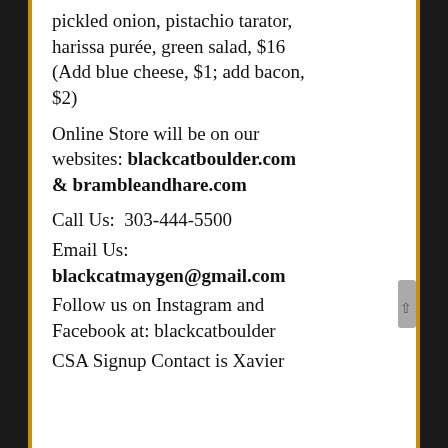pickled onion, pistachio tarator, harissa purée, green salad, $16 (Add blue cheese, $1; add bacon, $2)
Online Store will be on our websites: blackcatboulder.com & brambleandhare.com
Call Us: 303-444-5500
Email Us: blackcatmaygen@gmail.com
Follow us on Instagram and Facebook at: blackcatboulder
CSA Signup Contact is Xavier